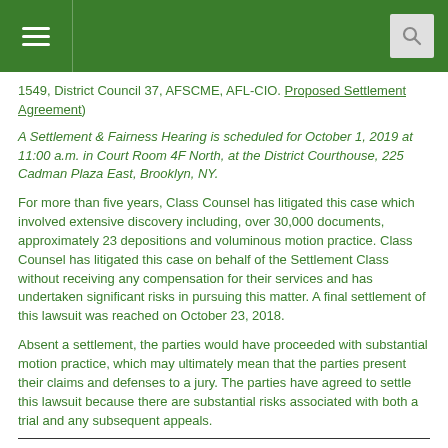[Navigation header with hamburger menu and search icon]
1549, District Council 37, AFSCME, AFL-CIO. Proposed Settlement Agreement)
A Settlement & Fairness Hearing is scheduled for October 1, 2019 at 11:00 a.m. in Court Room 4F North, at the District Courthouse, 225 Cadman Plaza East, Brooklyn, NY.
For more than five years, Class Counsel has litigated this case which involved extensive discovery including, over 30,000 documents, approximately 23 depositions and voluminous motion practice. Class Counsel has litigated this case on behalf of the Settlement Class without receiving any compensation for their services and has undertaken significant risks in pursuing this matter. A final settlement of this lawsuit was reached on October 23, 2018.
Absent a settlement, the parties would have proceeded with substantial motion practice, which may ultimately mean that the parties present their claims and defenses to a jury. The parties have agreed to settle this lawsuit because there are substantial risks associated with both a trial and any subsequent appeals.
CLASS CERTIFICATION